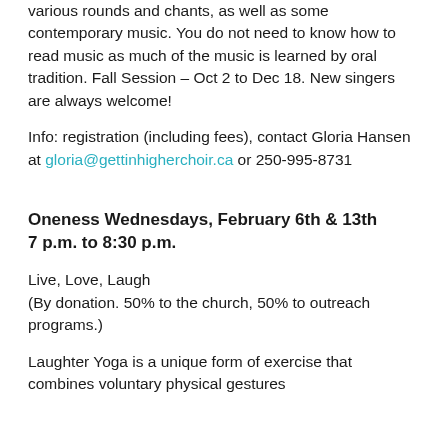various rounds and chants, as well as some contemporary music. You do not need to know how to read music as much of the music is learned by oral tradition. Fall Session – Oct 2 to Dec 18. New singers are always welcome!
Info: registration (including fees), contact Gloria Hansen at gloria@gettinhigherchoir.ca or 250-995-8731
Oneness Wednesdays, February 6th & 13th 7 p.m. to 8:30 p.m.
Live, Love, Laugh
(By donation. 50% to the church, 50% to outreach programs.)
Laughter Yoga is a unique form of exercise that combines voluntary physical gestures